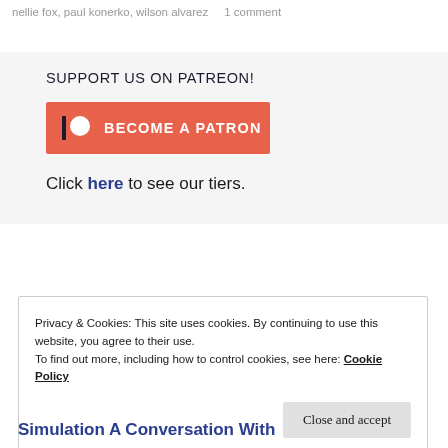nellie fox, paul konerko, wilson alvarez    1 comment
SUPPORT US ON PATREON!
[Figure (other): Patreon button - orange/red rectangle with Patreon logo icon and text BECOME A PATRON]
Click here to see our tiers.
Privacy & Cookies: This site uses cookies. By continuing to use this website, you agree to their use.
To find out more, including how to control cookies, see here: Cookie Policy
Close and accept
Simulation A Conversation With